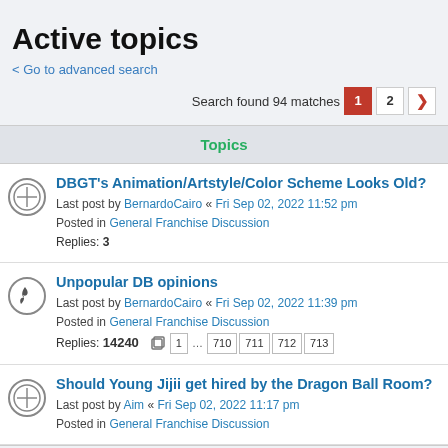Active topics
< Go to advanced search
Search found 94 matches  1  2  >
Topics
DBGT's Animation/Artstyle/Color Scheme Looks Old?
Last post by BernardoCairo « Fri Sep 02, 2022 11:52 pm
Posted in General Franchise Discussion
Replies: 3
Unpopular DB opinions
Last post by BernardoCairo « Fri Sep 02, 2022 11:39 pm
Posted in General Franchise Discussion
Replies: 14240  1 … 710 711 712 713
Should Young Jijii get hired by the Dragon Ball Room?
Last post by Aim « Fri Sep 02, 2022 11:17 pm
Posted in General Franchise Discussion
Replies: ...